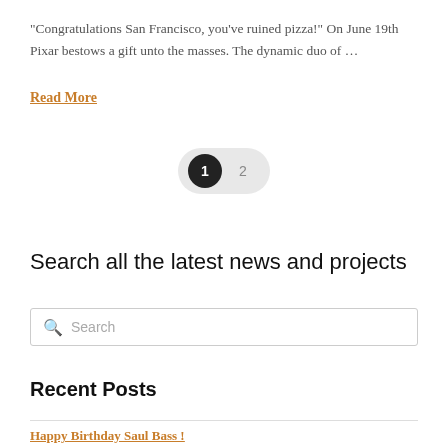“Congratulations San Francisco, you’ve ruined pizza!” On June 19th Pixar bestows a gift unto the masses. The dynamic duo of …
Read More
[Figure (other): Pagination control showing page 1 (active, dark circle) and page 2 (inactive) inside a rounded pill-shaped background]
Search all the latest news and projects
Search
Recent Posts
Happy Birthday Saul Bass !